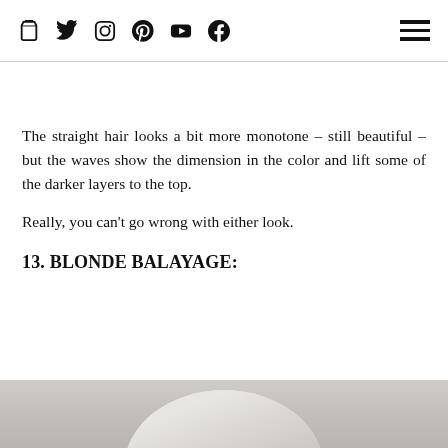Social media icons: bag, twitter, instagram, pinterest, youtube, facebook; hamburger menu
The straight hair looks a bit more monotone – still beautiful – but the waves show the dimension in the color and lift some of the darker layers to the top.
Really, you can't go wrong with either look.
13. BLONDE BALAYAGE:
[Figure (photo): Top of a person's head with blonde balayage hair, light gray/white tones, cropped to show just the top portion of the hair]